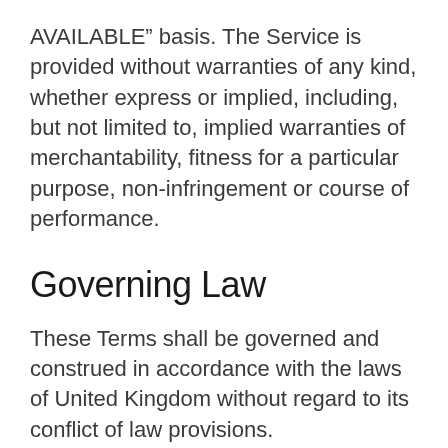AVAILABLE” basis. The Service is provided without warranties of any kind, whether express or implied, including, but not limited to, implied warranties of merchantability, fitness for a particular purpose, non-infringement or course of performance.
Governing Law
These Terms shall be governed and construed in accordance with the laws of United Kingdom without regard to its conflict of law provisions.